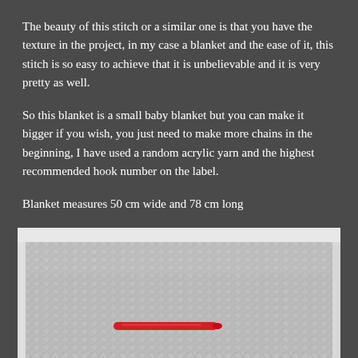The beauty of this stitch or a similar one is that you have the texture in the project, in my case a blanket and the ease of it, this stitch is so easy to achieve that it is unbelievable and it is very pretty as well.
So this blanket is a small baby blanket but you can make it bigger if you wish, you just need to make more chains in the beginning, I have used a random acrylic yarn and the highest recommended hook number on the label.
Blanket measures 50 cm wide and 78 cm long
[Figure (photo): A grey crocheted baby blanket with a textured stitch pattern, laid flat. A small red crochet hook is visible on the blanket surface.]